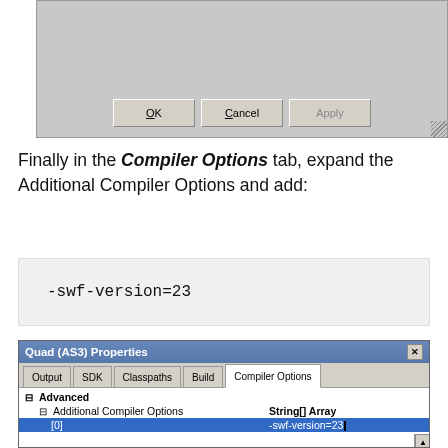[Figure (screenshot): Bottom portion of a dialog box showing OK, Cancel, and Apply buttons with a resize grip in the bottom-right corner]
Finally in the Compiler Options tab, expand the Additional Compiler Options and add:
-swf-version=23
[Figure (screenshot): Quad (AS3) Properties dialog showing Compiler Options tab with Advanced section expanded, Additional Compiler Options showing String[] Array with [0] value -swf-version=23]